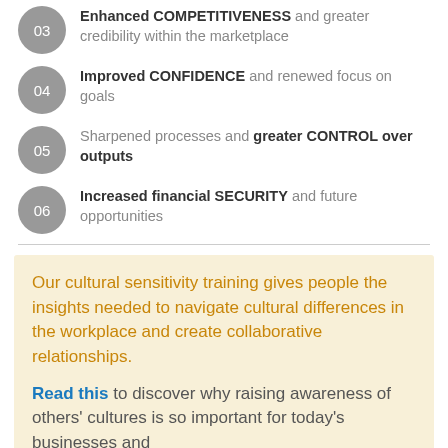03 Enhanced COMPETITIVENESS and greater credibility within the marketplace
04 Improved CONFIDENCE and renewed focus on goals
05 Sharpened processes and greater CONTROL over outputs
06 Increased financial SECURITY and future opportunities
Our cultural sensitivity training gives people the insights needed to navigate cultural differences in the workplace and create collaborative relationships.
Read this to discover why raising awareness of others' cultures is so important for today's businesses and organisations.